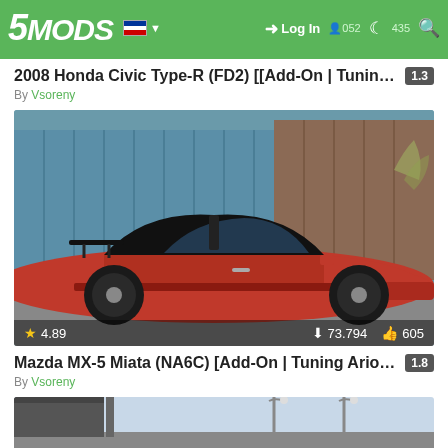5MODS | Log In
2008 Honda Civic Type-R (FD2) [[Add-On | Tuning | Mug... 1.3
By Vsoreny
[Figure (photo): Red Mazda MX-5 Miata sports car parked in front of blue corrugated metal shipping containers, showing driver side with racing spoiler and wide-body kit. Stats overlay: 4.89 stars, 73,794 downloads, 605 likes.]
Mazda MX-5 Miata (NA6C) [Add-On | Tuning Arios | Tem... 1.8
By Vsoreny
[Figure (photo): Partial view of a car near elevated structures, cropped at bottom of page.]